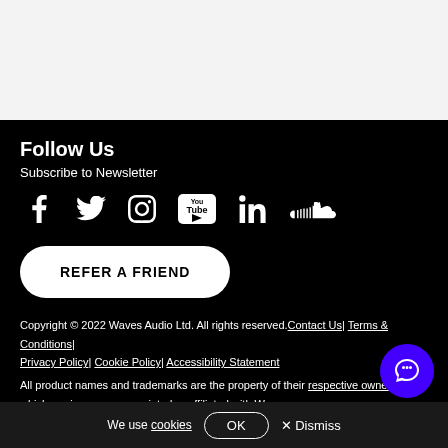[Figure (other): Light gray blank top section area]
Follow Us
Subscribe to Newsletter
[Figure (infographic): Row of social media icons: Facebook, Twitter, Instagram, YouTube, LinkedIn, SoundCloud]
REFER A FRIEND
Copyright © 2022 Waves Audio Ltd. All rights reserved. Contact Us| Terms & Conditions| Privacy Policy| Cookie Policy| Accessibility Statement
All product names and trademarks are the property of their respective owners, which are in no way associated or affiliated with Waves.
We use cookies OK × Dismiss